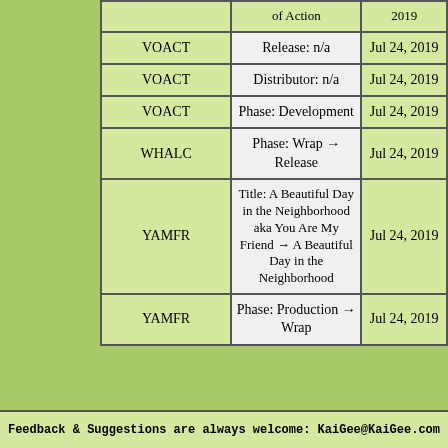|  | Type of Action | 2019 |
| --- | --- | --- |
| VOACT | Release: n/a | Jul 24, 2019 |
| VOACT | Distributor: n/a | Jul 24, 2019 |
| VOACT | Phase: Development | Jul 24, 2019 |
| WHALC | Phase: Wrap → Release | Jul 24, 2019 |
| YAMFR | Title: A Beautiful Day in the Neighborhood aka You Are My Friend → A Beautiful Day in the Neighborhood | Jul 24, 2019 |
| YAMFR | Phase: Production → Wrap | Jul 24, 2019 |
Feedback & Suggestions are always welcome: KaiGee@KaiGee.com